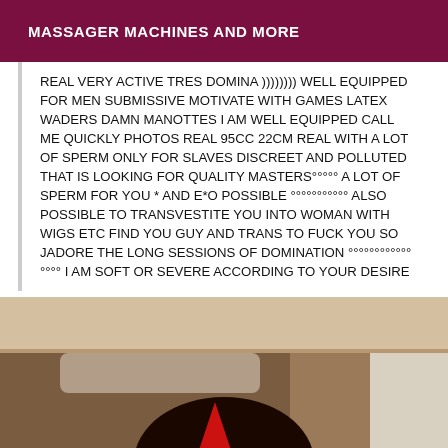MASSAGER MACHINES AND MORE
REAL VERY ACTIVE TRES DOMINA )))))))) WELL EQUIPPED FOR MEN SUBMISSIVE MOTIVATE WITH GAMES LATEX WADERS DAMN MANOTTES I AM WELL EQUIPPED CALL ME QUICKLY PHOTOS REAL 95CC 22CM REAL WITH A LOT OF SPERM ONLY FOR SLAVES DISCREET AND POLLUTED THAT IS LOOKING FOR QUALITY MASTERS°°°°° A LOT OF SPERM FOR YOU * AND E*O POSSIBLE °°°°°°°°°°° ALSO POSSIBLE TO TRANSVESTITE YOU INTO WOMAN WITH WIGS ETC FIND YOU GUY AND TRANS TO FUCK YOU SO JADORE THE LONG SESSIONS OF DOMINATION °°°°°°°°°°°°°°°° I AM SOFT OR SEVERE ACCORDING TO YOUR DESIRE
[Figure (photo): Photo of a person with dark hair lying on a beige upholstered headboard, wearing a red garment, with a neutral background.]